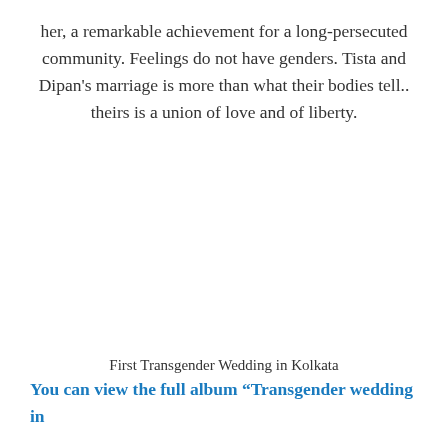her, a remarkable achievement for a long-persecuted community. Feelings do not have genders. Tista and Dipan's marriage is more than what their bodies tell.. theirs is a union of love and of liberty.
First Transgender Wedding in Kolkata
You can view the full album “Transgender wedding in